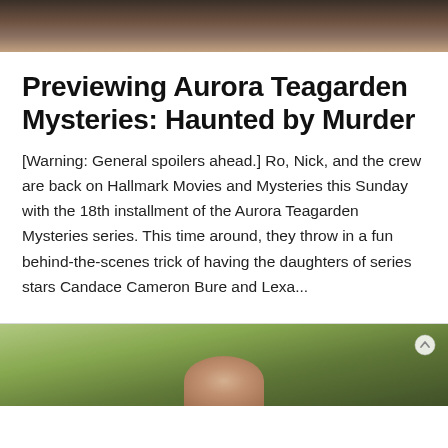[Figure (photo): Top portion of a photo showing people, partially cropped — dark/brown tones, likely two people standing]
Previewing Aurora Teagarden Mysteries: Haunted by Murder
[Warning: General spoilers ahead.] Ro, Nick, and the crew are back on Hallmark Movies and Mysteries this Sunday with the 18th installment of the Aurora Teagarden Mysteries series. This time around, they throw in a fun behind-the-scenes trick of having the daughters of series stars Candace Cameron Bure and Lexa...
[Figure (photo): Bottom portion showing an outdoor scene with green foliage and a person visible at the bottom edge, partially cropped]